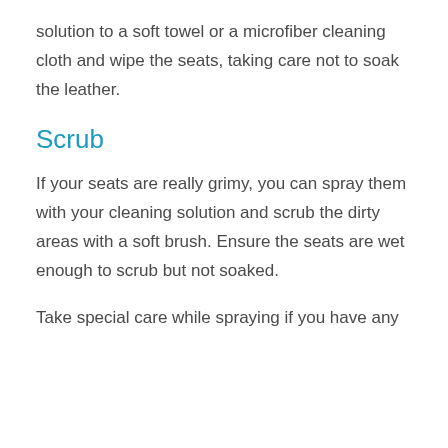solution to a soft towel or a microfiber cleaning cloth and wipe the seats, taking care not to soak the leather.
Scrub
If your seats are really grimy, you can spray them with your cleaning solution and scrub the dirty areas with a soft brush. Ensure the seats are wet enough to scrub but not soaked.
Take special care while spraying if you have any